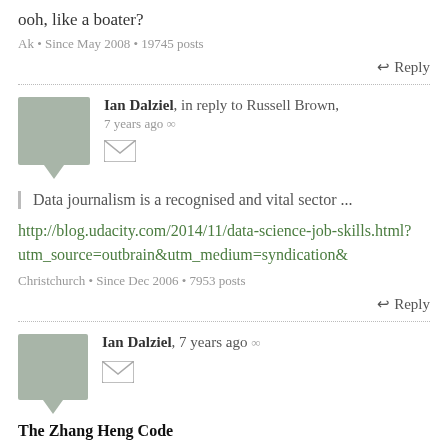ooh, like a boater?
Ak • Since May 2008 • 19745 posts
↩ Reply
Ian Dalziel, in reply to Russell Brown, 7 years ago ∞
Data journalism is a recognised and vital sector ...
http://blog.udacity.com/2014/11/data-science-job-skills.html?utm_source=outbrain&utm_medium=syndication&
Christchurch • Since Dec 2006 • 7953 posts
↩ Reply
Ian Dalziel, 7 years ago ∞
The Zhang Heng Code
The 'problem' may go deeper - Twyford may have lifted the lid on a millennia old Dynastic land grab